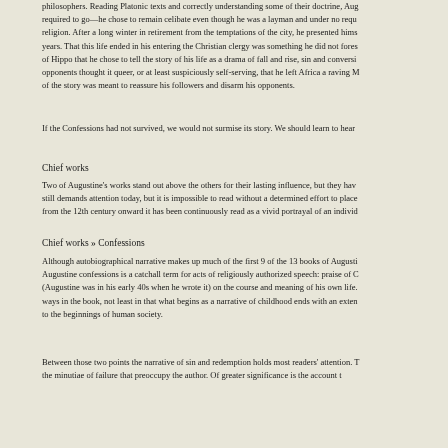philosophers. Reading Platonic texts and correctly understanding some of their doctrine, Aug required to go—he chose to remain celibate even though he was a layman and under no requ religion. After a long winter in retirement from the temptations of the city, he presented hims years. That this life ended in his entering the Christian clergy was something he did not fores of Hippo that he chose to tell the story of his life as a drama of fall and rise, sin and conversi opponents thought it queer, or at least suspiciously self-serving, that he left Africa a raving M of the story was meant to reassure his followers and disarm his opponents.
If the Confessions had not survived, we would not surmise its story. We should learn to hear
Chief works
Two of Augustine's works stand out above the others for their lasting influence, but they hav still demands attention today, but it is impossible to read without a determined effort to place from the 12th century onward it has been continuously read as a vivid portrayal of an individ
Chief works » Confessions
Although autobiographical narrative makes up much of the first 9 of the 13 books of Augusti Augustine confessions is a catchall term for acts of religiously authorized speech: praise of C (Augustine was in his early 40s when he wrote it) on the course and meaning of his own life. ways in the book, not least in that what begins as a narrative of childhood ends with an exten to the beginnings of human society.
Between those two points the narrative of sin and redemption holds most readers' attention. T the minutiae of failure that preoccupy the author. Of greater significance is the account t